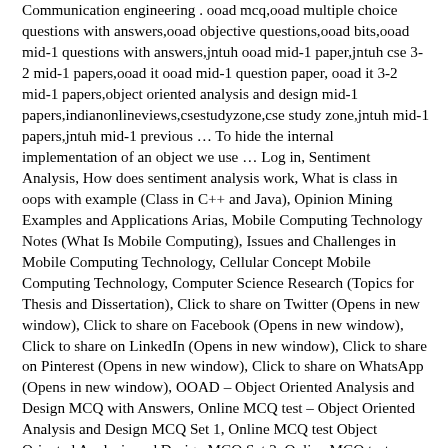Communication engineering . ooad mcq,ooad multiple choice questions with answers,ooad objective questions,ooad bits,ooad mid-1 questions with answers,jntuh ooad mid-1 paper,jntuh cse 3-2 mid-1 papers,ooad it ooad mid-1 question paper, ooad it 3-2 mid-1 papers,object oriented analysis and design mid-1 papers,indianonlineviews,csestudyzone,cse study zone,jntuh mid-1 papers,jntuh mid-1 previous … To hide the internal implementation of an object we use … Log in, Sentiment Analysis, How does sentiment analysis work, What is class in oops with example (Class in C++ and Java), Opinion Mining Examples and Applications Arias, Mobile Computing Technology Notes (What Is Mobile Computing), Issues and Challenges in Mobile Computing Technology, Cellular Concept Mobile Computing Technology, Computer Science Research (Topics for Thesis and Dissertation), Click to share on Twitter (Opens in new window), Click to share on Facebook (Opens in new window), Click to share on LinkedIn (Opens in new window), Click to share on Pinterest (Opens in new window), Click to share on WhatsApp (Opens in new window), OOAD – Object Oriented Analysis and Design MCQ with Answers, Online MCQ test – Object Oriented Analysis and Design MCQ Set 1, Online MCQ test Object Oriented Analysis and Design MCQ Set 2, Online MCQ test Object Oriented Analysis and Design MCQ Set 3, Online MCQ test Object Oriented Analysis and Design MCQ Set 4, Online MCQ test Object Oriented Analysis and Design MCQ Set 6, 11 Simple Rules